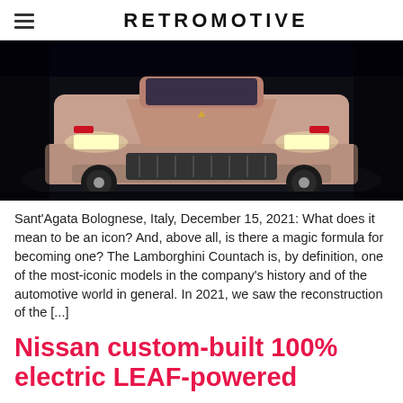RETROMOTIVE
[Figure (photo): Front view of a Lamborghini Countach on a dark studio floor with headlights on, pinkish/white car color against a dark background]
Sant'Agata Bolognese, Italy, December 15, 2021: What does it mean to be an icon? And, above all, is there a magic formula for becoming one?  The Lamborghini Countach is, by definition, one of the most-iconic models in the company's history and of the automotive world in general. In 2021, we saw the reconstruction of the [...]
Nissan custom-built 100% electric LEAF-powered